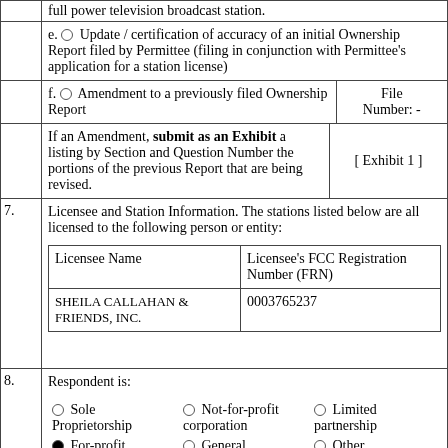full power television broadcast station.
e. Update / certification of accuracy of an initial Ownership Report filed by Permittee (filing in conjunction with Permittee's application for a station license)
f. Amendment to a previously filed Ownership Report
File Number: -
If an Amendment, submit as an Exhibit a listing by Section and Question Number the portions of the previous Report that are being revised.
[ Exhibit 1 ]
7. Licensee and Station Information. The stations listed below are all licensed to the following person or entity:
| Licensee Name | Licensee's FCC Registration Number (FRN) |
| --- | --- |
| SHEILA CALLAHAN & FRIENDS, INC. | 0003765237 |
8. Respondent is:
Sole Proprietorship | Not-for-profit corporation | Limited partnership | For-profit | General | Other